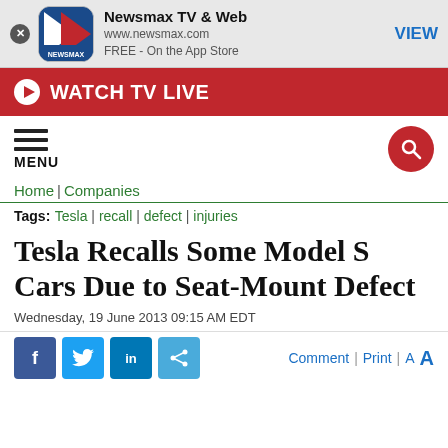[Figure (screenshot): Newsmax app banner with logo icon, app name 'Newsmax TV & Web', URL www.newsmax.com, 'FREE - On the App Store', and VIEW button]
[Figure (screenshot): Red WATCH TV LIVE bar with play button icon]
[Figure (screenshot): Navigation row with hamburger MENU icon and red search circle icon]
Home | Companies
Tags: Tesla | recall | defect | injuries
Tesla Recalls Some Model S Cars Due to Seat-Mount Defect
Wednesday, 19 June 2013 09:15 AM EDT
[Figure (screenshot): Social share buttons: Facebook, Twitter, LinkedIn, link share, plus Comment | Print | A A actions]